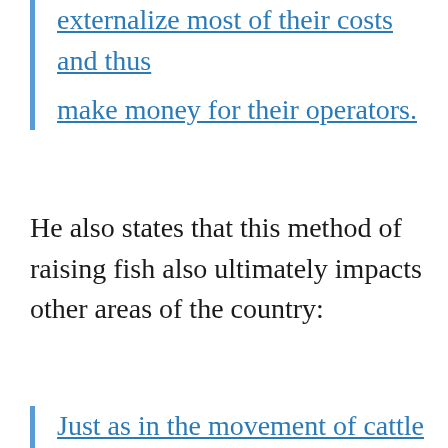…g…s…externalize most of their costs and thus make money for their operators.
He also states that this method of raising fish also ultimately impacts other areas of the country:
Just as in the movement of cattle to feedlots, they're saying we can raise cheap fish by feeding them something that's not their natural diet, but which is cheap. Of…